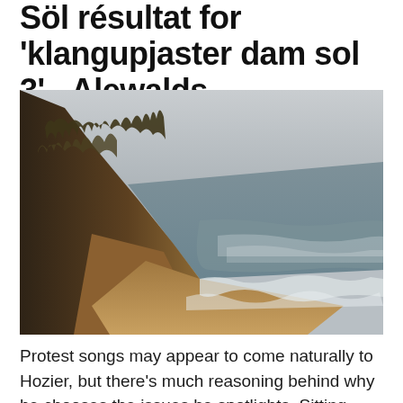Söl résultat for 'klangupjaster dam sol 3' - Alewalds
[Figure (photo): Aerial/elevated view of a coastal beach scene with sandy cliffs covered in dry grass on the left, a long stretch of sandy beach in the middle, and ocean waves breaking on the shore to the right. The sky is overcast and grey. The photo has a muted, vintage tone.]
Protest songs may appear to come naturally to Hozier, but there's much reasoning behind why he chooses the issues he spotlights. Sitting down with